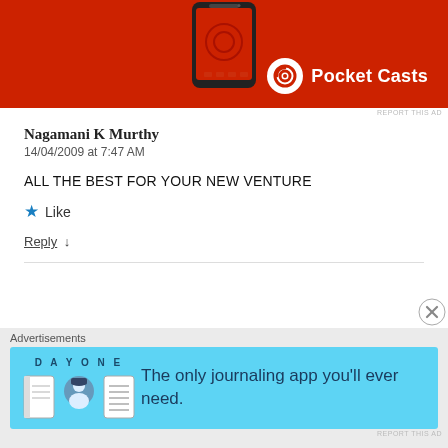[Figure (photo): Pocket Casts advertisement banner with red background showing a smartphone and the Pocket Casts logo and name in white]
REPORT THIS AD
Nagamani K Murthy
14/04/2009 at 7:47 AM
ALL THE BEST FOR YOUR NEW VENTURE
★ Like
Reply ↓
[Figure (photo): Day One journaling app advertisement with light blue background showing app icons and text: The only journaling app you'll ever need.]
REPORT THIS AD